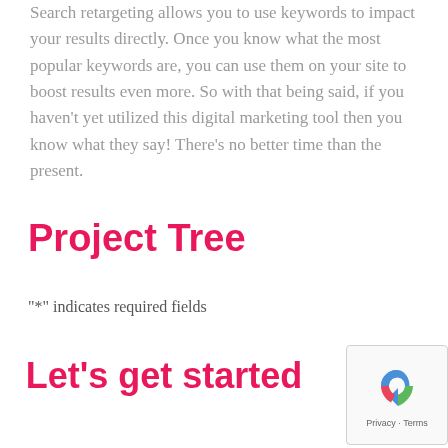Search retargeting allows you to use keywords to impact your results directly. Once you know what the most popular keywords are, you can use them on your site to boost results even more. So with that being said, if you haven't yet utilized this digital marketing tool then you know what they say! There's no better time than the present.
Project Tree
"*" indicates required fields
Let's get started